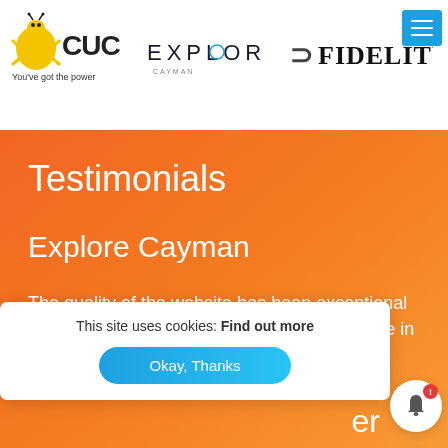[Figure (logo): CUC logo with cartoon lizard and tagline 'You've got the power']
[Figure (logo): EXPLORE Cayman logo]
[Figure (logo): Fidelity logo with arrow symbol]
Testimonials
Explore Cayman
The quality of the website has been exceptional and thanks for creating the best travel website in the Cayman Islands for us. Very responsive service and great
This site uses cookies: Find out more
Okay, Thanks